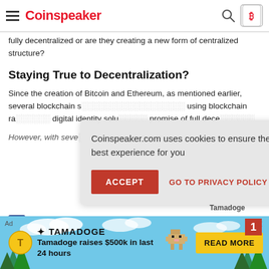Coinspeaker
fully decentralized or are they creating a new form of centralized structure?
Staying True to Decentralization?
Since the creation of Bitcoin and Ethereum, as mentioned earlier, several blockchain s... using blockchain ra... digital identity solu... promise of full dece...
However, with seve... becoming ob ous th...
[Figure (screenshot): Cookie consent modal overlay: 'Coinspeaker.com uses cookies to ensure the best experience for you' with ACCEPT button and GO TO PRIVACY POLICY link]
[Figure (infographic): Tamadoge advertisement banner at bottom of page: 'Tamadoge raises $500k in last 24 hours' with READ MORE button]